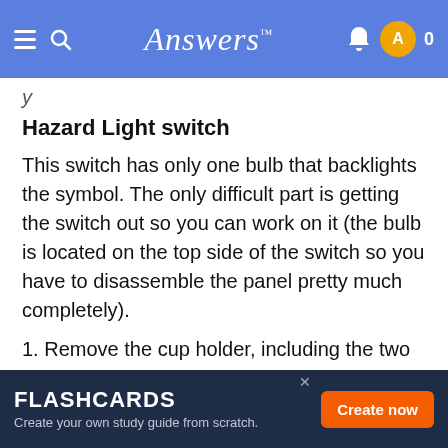Answers
y
Hazard Light switch
This switch has only one bulb that backlights the symbol. The only difficult part is getting the switch out so you can work on it (the bulb is located on the top side of the switch so you have to disassemble the panel pretty much completely).
1. Remove the cup holder, including the two screws and the socket that holds the tray.
2. Remove the whole center vent assembly (entire piece surrounding the heater controls, vents, and hazard switch). It should pop out fairly easily (anchor
FLASHCARDS - Create your own study guide from scratch. Create now